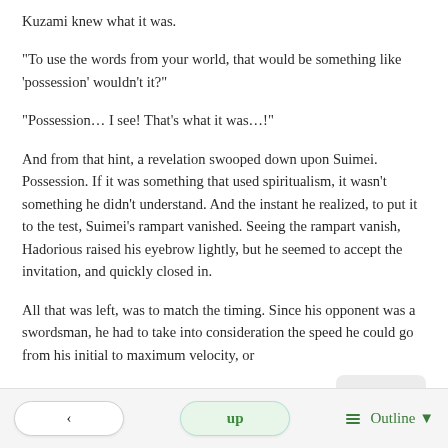Kuzami knew what it was.
"To use the words from your world, that would be something like ‘possession’ wouldn’t it?"
"Possession… I see! That's what it was…!"
And from that hint, a revelation swooped down upon Suimei. Possession. If it was something that used spiritualism, it wasn't something he didn't understand. And the instant he realized, to put it to the test, Suimei’s rampart vanished. Seeing the rampart vanish, Hadorious raised his eyebrow lightly, but he seemed to accept the invitation, and quickly closed in.
All that was left, was to match the timing. Since his opponent was a swordsman, he had to take into consideration the speed he could go from his initial to maximum velocity, or
< | up | Outline